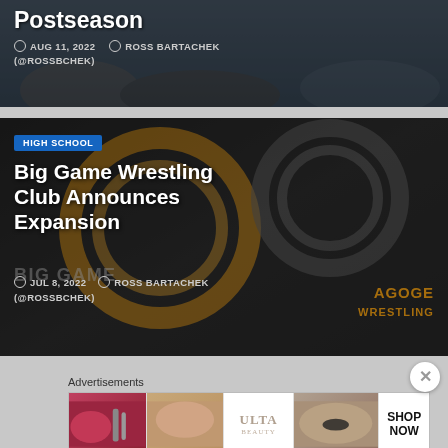[Figure (screenshot): Top article card with dark overlay showing wrestling postseason image. Title partially visible reading 'Postseason'. Metadata: AUG 11, 2022 by ROSS BARTACHEK (@ROSSBCHEK)]
[Figure (screenshot): Article card with dark background featuring Big Game Wrestling Club and Agoge Wrestling logos. Category tag HIGH SCHOOL in blue. Title: Big Game Wrestling Club Announces Expansion. Date: JUL 8, 2022. Author: ROSS BARTACHEK (@ROSSBCHEK)]
[Figure (screenshot): Advertisements strip showing Ulta Beauty cosmetics ad with makeup imagery and SHOP NOW call to action]
Advertisements
HIGH SCHOOL
Big Game Wrestling Club Announces Expansion
JUL 8, 2022  ROSS BARTACHEK
(@ROSSBCHEK)
AUG 11, 2022  ROSS BARTACHEK
(@ROSSBCHEK)